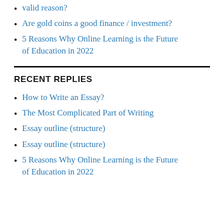valid reason?
Are gold coins a good finance / investment?
5 Reasons Why Online Learning is the Future of Education in 2022
RECENT REPLIES
How to Write an Essay?
The Most Complicated Part of Writing
Essay outline (structure)
Essay outline (structure)
5 Reasons Why Online Learning is the Future of Education in 2022